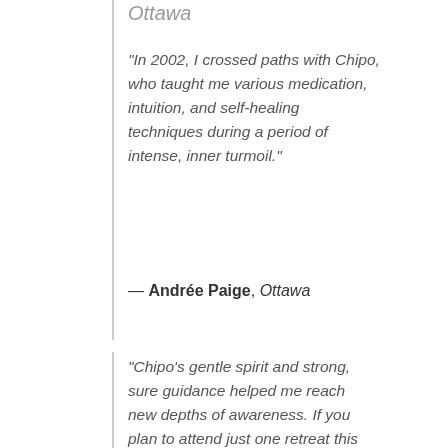Ottawa
“In 2002, I crossed paths with Chipo, who taught me various medication, intuition, and self-healing techniques during a period of intense, inner turmoil.”
— Andrée Paige, Ottawa
“Chipo’s gentle spirit and strong, sure guidance helped me reach new depths of awareness. If you plan to attend just one retreat this year, make sure Chipo Shambare is a presenter! You won’t recognize yourself after a session with Chipo! She is incredible!”